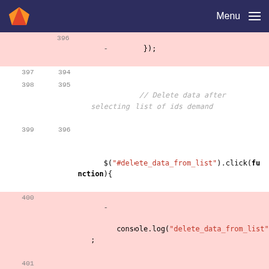GitLab — Menu
[Figure (screenshot): Code diff view showing JavaScript code changes around lines 396-403, with deleted lines (red background) and added lines (green background). Deleted lines include demands="" and added line has var demands=[];]